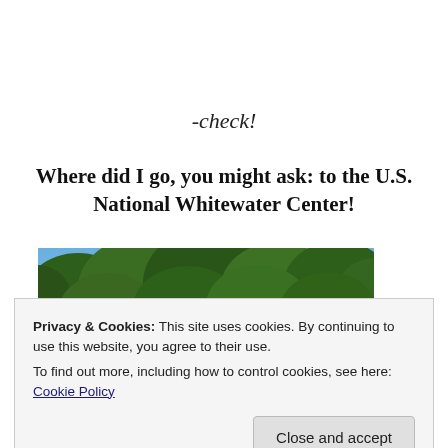-check!
Where did I go, you might ask: to the U.S. National Whitewater Center!
[Figure (photo): Outdoor photo showing green trees against a blue sky, with a partial view of a round pink/red sign at the bottom left.]
Privacy & Cookies: This site uses cookies. By continuing to use this website, you agree to their use.
To find out more, including how to control cookies, see here: Cookie Policy
Close and accept